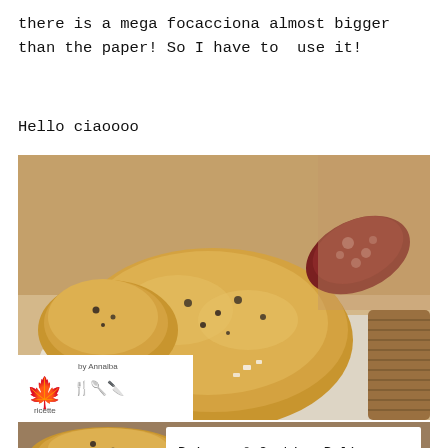there is a mega focacciona almost bigger than the paper! So I have to  use it!
Hello ciaoooo
[Figure (photo): A large focaccia bread with herbs and salt on a white napkin/cloth, with a salami sausage visible in the background. A watermark logo 'by Annalba ricette' is in the lower left corner of the photo.]
[Figure (photo): Partial view of a sliced focaccia at the bottom of the page with a white overlay box containing the text 'Privacy & Cookies Policy']
Privacy & Cookies Policy